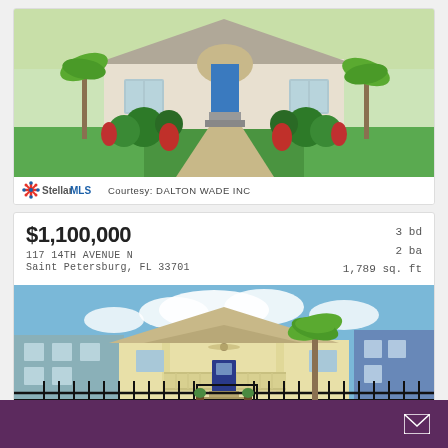[Figure (photo): Exterior photo of a residential home with blue front door, lush landscaping, green lawn, tropical plants, and a brick walkway leading to the entrance.]
Stellar MLS  Courtesy: DALTON WADE INC
$1,100,000
117 14TH AVENUE N
Saint Petersburg, FL 33701
3 bd  2 ba  1,789 sq. ft
[Figure (photo): Exterior photo of a yellow bungalow-style residential home with a covered front porch, black wrought iron fence, brick paver driveway, and palm trees in the yard.]
[Figure (other): Purple/maroon footer bar with an email envelope icon on the right side.]